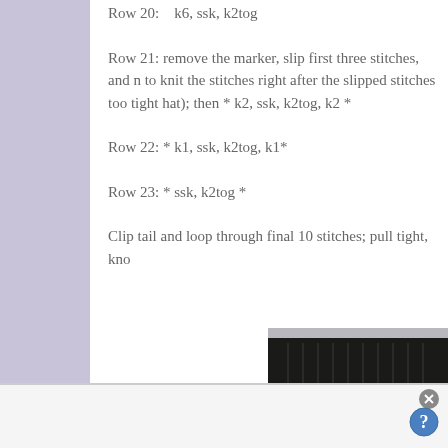Row 20:    k6, ssk, k2tog
Row 21: remove the marker, slip first three stitches, and n to knit the stitches right after the slipped stitches too tight hat); then * k2, ssk, k2tog, k2 *
Row 22: * k1, ssk, k2tog, k1*
Row 23: * ssk, k2tog *
Clip tail and loop through final 10 stitches; pull tight, kno
[Figure (photo): Photo of a person wearing a black knitted hat, showing the top portion of their head with blonde hair visible below the hat brim.]